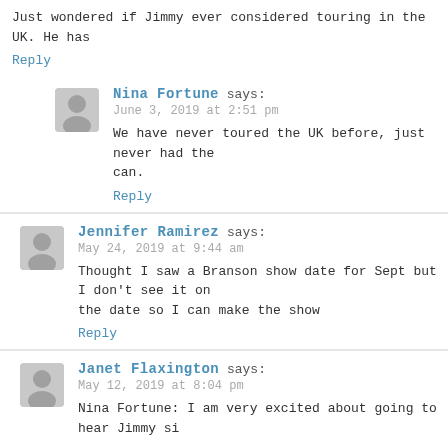Just wondered if Jimmy ever considered touring in the UK. He has
Reply
Nina Fortune says:
June 3, 2019 at 2:51 pm
We have never toured the UK before, just never had the can.
Reply
Jennifer Ramirez says:
May 24, 2019 at 9:44 am
Thought I saw a Branson show date for Sept but I don't see it on the date so I can make the show
Reply
Janet Flaxington says:
May 12, 2019 at 8:04 pm
Nina Fortune: I am very excited about going to hear Jimmy si